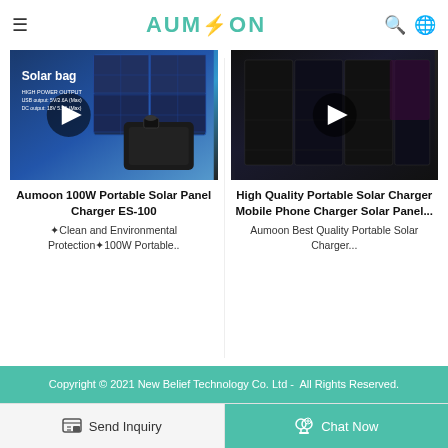AUMOON
[Figure (photo): Product image of Aumoon 100W Portable Solar Panel Charger ES-100, showing a solar bag with panels and a black carrying case. Overlay text: 'Solar bag', 'HIGH POWER OUTPUT', 'USB output: 5V/2.6A (Max)', 'DC output: 18V 5.5A (Max)'. A play button overlay is visible.]
[Figure (photo): Product image of a high quality portable solar charger/solar panel (dark, folded panel), with a play button overlay.]
Aumoon 100W Portable Solar Panel Charger ES-100
High Quality Portable Solar Charger Mobile Phone Charger Solar Panel...
✦Clean and Environmental Protection✦100W Portable..
Aumoon Best Quality Portable Solar Charger...
Copyright © 2021 New Belief Technology Co. Ltd -  All Rights Reserved.
Send Inquiry
Chat Now